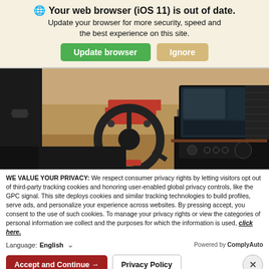Your web browser (iOS 11) is out of date. Update your browser for more security, speed and the best experience on this site.
[Figure (screenshot): Car interior dashboard and steering wheel with infotainment screen, red truck visible outside through windshield in background]
WE VALUE YOUR PRIVACY: We respect consumer privacy rights by letting visitors opt out of third-party tracking cookies and honoring user-enabled global privacy controls, like the GPC signal. This site deploys cookies and similar tracking technologies to build profiles, serve ads, and personalize your experience across websites. By pressing accept, you consent to the use of such cookies. To manage your privacy rights or view the categories of personal information we collect and the purposes for which the information is used, click here.
Language: English ∨ Powered by ComplyAuto